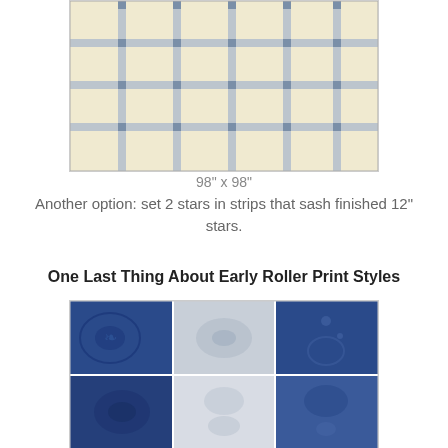[Figure (illustration): A quilt pattern featuring red eight-pointed stars on a cream and blue background, arranged in a grid with sashing strips. The quilt has alternating larger red stars and smaller pink stars with decorative blue and cream square blocks between them.]
98" x 98"
Another option: set 2 stars in strips that sash finished 12" stars.
One Last Thing About Early Roller Print Styles
[Figure (photo): A photo showing fabric swatches in a patchwork arrangement with blue and white/gray roller print fabrics featuring floral and geometric patterns, displayed in a grid of squares.]